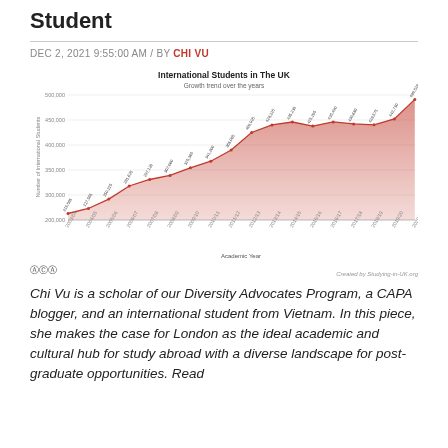Student
DEC 2, 2021 9:55:00 AM / BY CHI VU
[Figure (area-chart): International Students in The UK]
Chi Vu is a scholar of our Diversity Advocates Program, a CAPA blogger, and an international student from Vietnam. In this piece, she makes the case for London as the ideal academic and cultural hub for study abroad with a diverse landscape for post-graduate opportunities. Read